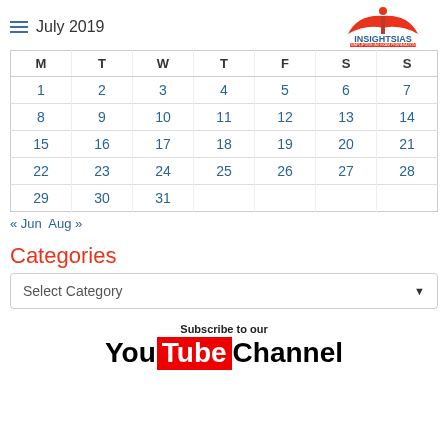July 2019 — INSIGHTSIAS SIMPLIFYING IAS EXAM PREPARATION
| M | T | W | T | F | S | S |
| --- | --- | --- | --- | --- | --- | --- |
| 1 | 2 | 3 | 4 | 5 | 6 | 7 |
| 8 | 9 | 10 | 11 | 12 | 13 | 14 |
| 15 | 16 | 17 | 18 | 19 | 20 | 21 |
| 22 | 23 | 24 | 25 | 26 | 27 | 28 |
| 29 | 30 | 31 |  |  |  |  |
« Jun  Aug »
Categories
Select Category
Subscribe to our YouTube Channel